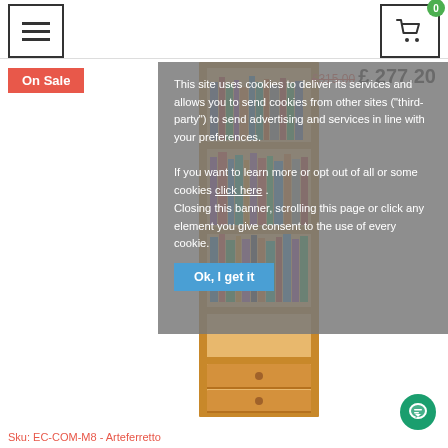Navigation menu and shopping cart with 0 items
On Sale
£315.00 £277.20
[Figure (photo): Tall wooden bookshelf with multiple shelves filled with books and two drawers at the bottom]
This site uses cookies to deliver its services and allows you to send cookies from other sites ("third-party") to send advertising and services in line with your preferences.
If you want to learn more or opt out of all or some cookies click here .
Closing this banner, scrolling this page or click any element you give consent to the use of every cookie.
Ok, I get it
Sku: EC-COM-M8 - Arteferretto